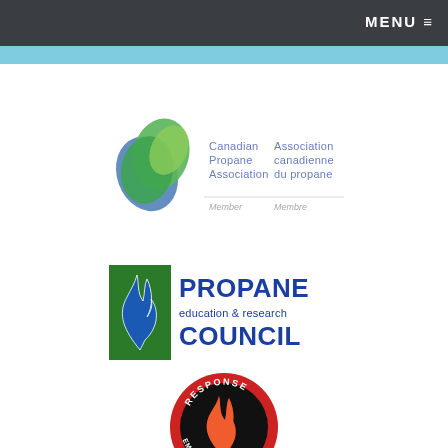MENU
[Figure (logo): Canadian Propane Association / Association canadienne du propane Member / Membre logo with overlapping green and blue leaf shapes]
[Figure (logo): Propane Education & Research Council logo with blue flame and green rectangle]
[Figure (logo): Emergency response council circular badge logo with fire imagery, partially visible]